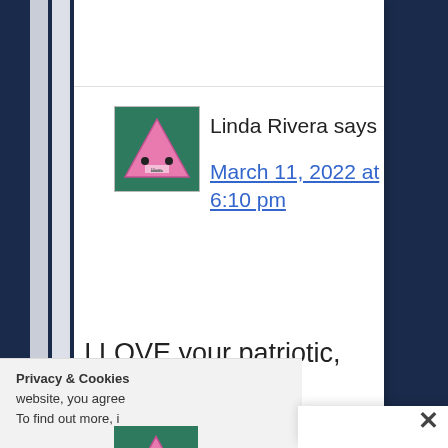[Figure (screenshot): Screenshot of a blog comment section showing a user avatar (cartoon pink triangle character on green background), commenter name 'Linda Rivera says', date link 'March 11, 2022 at 6:10 pm', partial comment text 'I LOVE your patriotic,', a modal dialog overlaid with a close X button, and a partial privacy/cookie notice bar at the bottom left.]